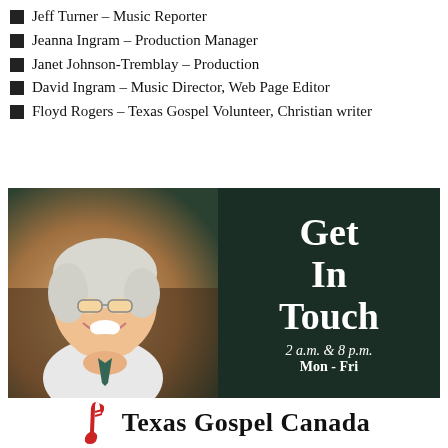Jeff Turner – Music Reporter
Jeanna Ingram – Production Manager
Janet Johnson-Tremblay – Production
David Ingram – Music Director, Web Page Editor
Floyd Rogers – Texas Gospel Volunteer, Christian writer
[Figure (photo): Advertisement showing a smiling elderly man on the left side against a warm background, and dark green background on right with text 'Get In Touch 2 a.m. & 8 p.m. Mon - Fri' in white]
[Figure (logo): Texas Gospel Canada logo with a red guitar neck/music note icon and bold text 'Texas Gospel Canada']